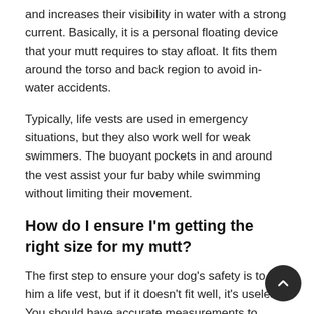and increases their visibility in water with a strong current. Basically, it is a personal floating device that your mutt requires to stay afloat. It fits them around the torso and back region to avoid in-water accidents.
Typically, life vests are used in emergency situations, but they also work well for weak swimmers. The buoyant pockets in and around the vest assist your fur baby while swimming without limiting their movement.
How do I ensure I'm getting the right size for my mutt?
The first step to ensure your dog's safety is to get him a life vest, but if it doesn't fit well, it's useless. You should have accurate measurements to ensure the vest fits perfectly.